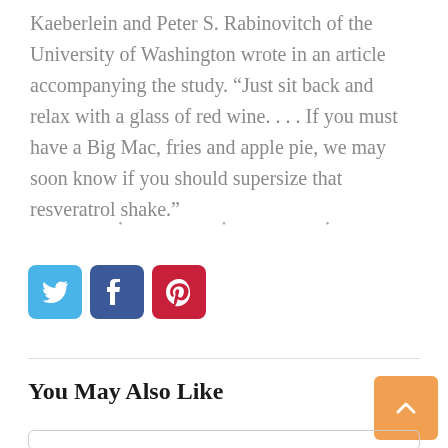Kaeberlein and Peter S. Rabinovitch of the University of Washington wrote in an article accompanying the study. “Just sit back and relax with a glass of red wine. . . . If you must have a Big Mac, fries and apple pie, we may soon know if you should supersize that resveratrol shake.”
[Figure (other): Three dot section divider (ellipsis decoration)]
[Figure (infographic): Social share buttons: Twitter (blue), Facebook (dark blue), Pinterest (red)]
You May Also Like